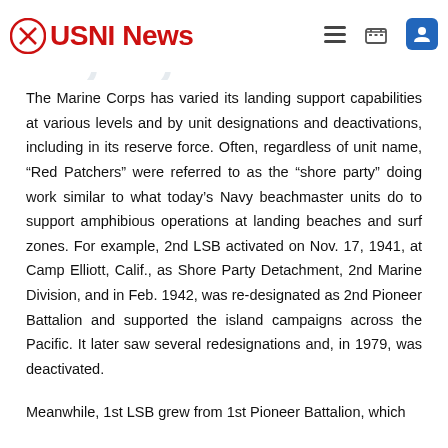USNI News
The Marine Corps has varied its landing support capabilities at various levels and by unit designations and deactivations, including in its reserve force. Often, regardless of unit name, “Red Patchers” were referred to as the “shore party” doing work similar to what today’s Navy beachmaster units do to support amphibious operations at landing beaches and surf zones. For example, 2nd LSB activated on Nov. 17, 1941, at Camp Elliott, Calif., as Shore Party Detachment, 2nd Marine Division, and in Feb. 1942, was re-designated as 2nd Pioneer Battalion and supported the island campaigns across the Pacific. It later saw several redesignations and, in 1979, was deactivated.
Meanwhile, 1st LSB grew from 1st Pioneer Battalion, which